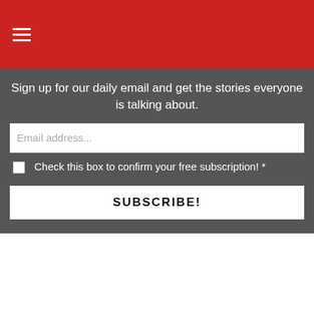☰ (hamburger menu icon)
Sign up for our daily email and get the stories everyone is talking about.
Email address...
Check this box to confirm your free subscription! *
SUBSCRIBE!
Promoted X
[Figure (photo): Row of brown prescription medicine bottles arranged in a fan pattern on a dark surface]
4 Worst Blood Pressure Drugs (#2 Is Scary)
🔥 43,418
[Figure (photo): Before and after comparison of a woman's back showing weight loss results, wearing black bra]
A Teaspoon On An Empty Stomach Burns 12 Lbs Of Fat A Week Safely!
🔥 7,597